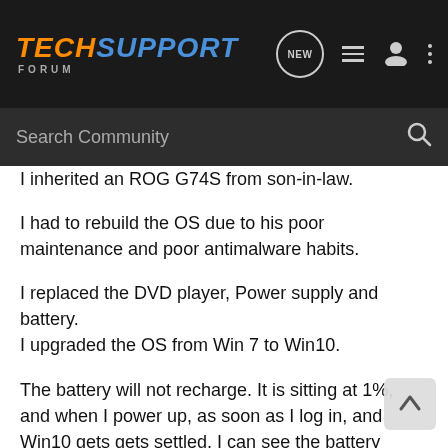TECHSUPPORT FORUM
Search Community
I inherited an ROG G74S from son-in-law.
I had to rebuild the OS due to his poor maintenance and poor antimalware habits.
I replaced the DVD player, Power supply and battery.
I upgraded the OS from Win 7 to Win10.
The battery will not recharge. It is sitting at 1%, and when I power up, as soon as I log in, and Win10 gets gets settled, I can see the battery indicator shows it is charging, but after about 30-40 seconds, it stops. After a matter of weeks of being powered up, it will eventually change to indicate 2% charge. and, I can run the LT off battery for 15-20 minutes, before it whines and shuts down.